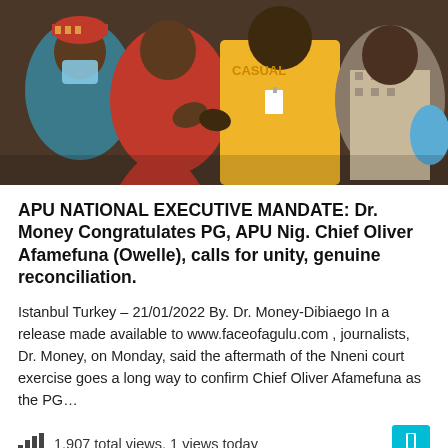[Figure (photo): Group of people interacting outdoors; one person wearing a red patterned outfit and traditional cap, others wearing masks and casual clothing including a yellow shirt with 'CASUAL' text]
APU NATIONAL EXECUTIVE MANDATE: Dr. Money Congratulates PG, APU Nig. Chief Oliver Afamefuna (Owelle), calls for unity, genuine reconciliation.
Istanbul Turkey – 21/01/2022 By. Dr. Money-Dibiaego In a release made available to www.faceofagulu.com , journalists, Dr. Money, on Monday, said the aftermath of the Nneni court exercise goes a long way to confirm Chief Oliver Afamefuna as the PG…
1,907 total views,  1 views today